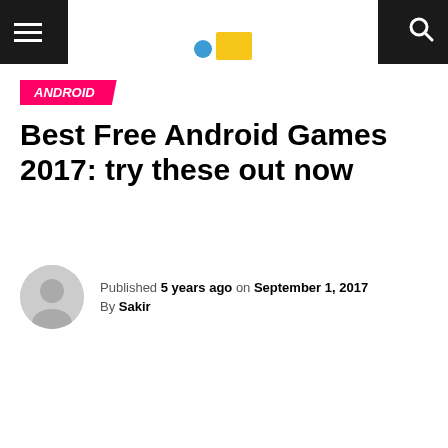Navigation bar with hamburger menu, logo, and search icon
ANDROID
Best Free Android Games 2017: try these out now
Published 5 years ago on September 1, 2017
By Sakir